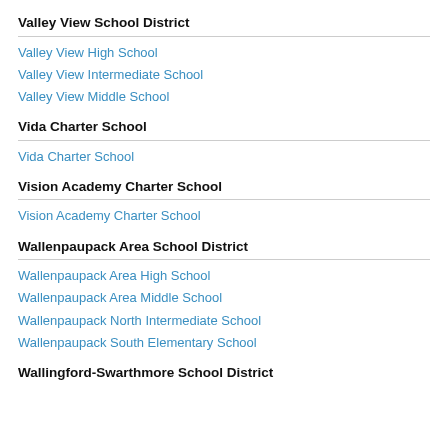Valley View School District
Valley View High School
Valley View Intermediate School
Valley View Middle School
Vida Charter School
Vida Charter School
Vision Academy Charter School
Vision Academy Charter School
Wallenpaupack Area School District
Wallenpaupack Area High School
Wallenpaupack Area Middle School
Wallenpaupack North Intermediate School
Wallenpaupack South Elementary School
Wallingford-Swarthmore School District